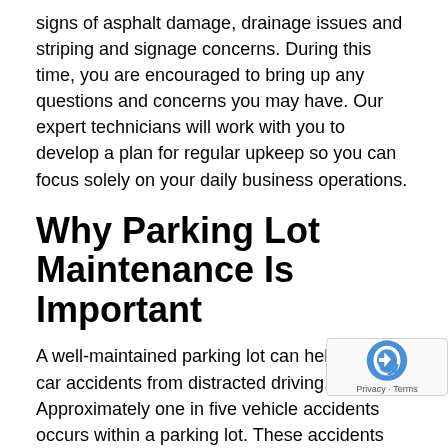signs of asphalt damage, drainage issues and striping and signage concerns. During this time, you are encouraged to bring up any questions and concerns you may have. Our expert technicians will work with you to develop a plan for regular upkeep so you can focus solely on your daily business operations.
Why Parking Lot Maintenance Is Important
A well-maintained parking lot can help reduce car accidents from distracted driving. Approximately one in five vehicle accidents occurs within a parking lot. These accidents result in over 60,000 injuries and 500 fatalities each year. As the business owner, you could be held responsible for medical and repair bills and potentially lose your business from financially damaging lawsuits. Many of these crashes are entirely preventable with proper parking